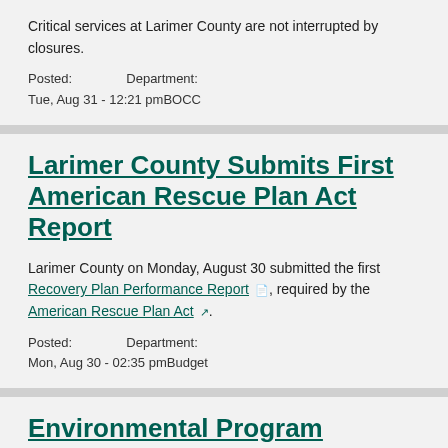Critical services at Larimer County are not interrupted by closures.
Posted:
Tue, Aug 31 - 12:21 pm
Department:
BOCC
Larimer County Submits First American Rescue Plan Act Report
Larimer County on Monday, August 30 submitted the first Recovery Plan Performance Report, required by the American Rescue Plan Act.
Posted:
Mon, Aug 30 - 02:35 pm
Department:
Budget
Environmental Program